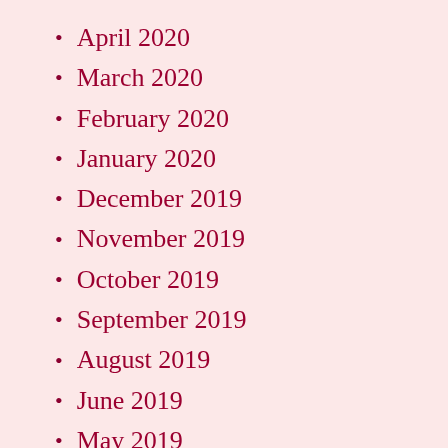April 2020
March 2020
February 2020
January 2020
December 2019
November 2019
October 2019
September 2019
August 2019
June 2019
May 2019
April 2019
March 2019
February 2019
January 2019
December 2018